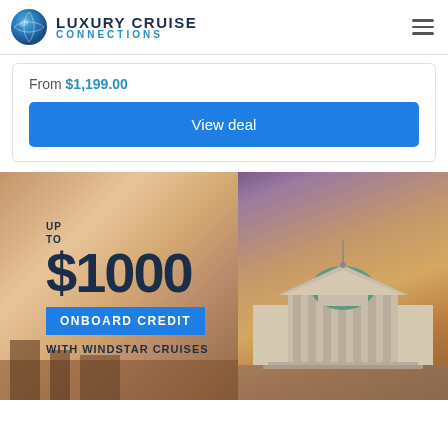[Figure (logo): Luxury Cruise Connections logo with globe icon and text]
From $1,199.00
View deal
[Figure (infographic): Promotional banner showing cruise destination photos with text: UP TO $1000 ONBOARD CREDIT WITH WINDSTAR CRUISES]